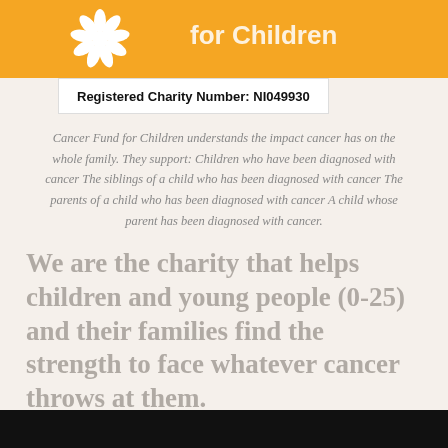[Figure (logo): Orange banner with white daisy flower icon and text for Cancer Fund for Children charity]
Registered Charity Number:  NI049930
Cancer Fund for Children understands the impact cancer has on the whole family. They support: Children who have been diagnosed with cancer The siblings of a child who has been diagnosed with cancer The parents of a child who has been diagnosed with cancer A child whose parent has been diagnosed with cancer.
We are the charity that helps children and young people (0-25) and their families find the strength to face whatever cancer throws at them.
[Figure (photo): Dark/black bar at the bottom of the page, partial image]